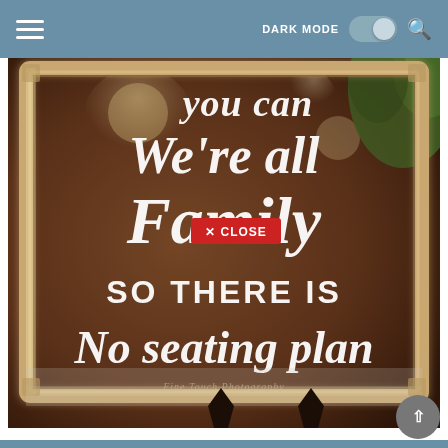DARK MODE [toggle] [search]
[Figure (photo): A gold and white ornate picture frame displayed on an easel, containing a hand-lettered sign on a mirror that reads 'you can / We're all Family / SO THERE IS / No seating plan' in white calligraphy script. A red CLOSE button overlay appears in the center of the image. Green foliage visible in upper right corner.]
Gold and white framed as you are, stay as long as